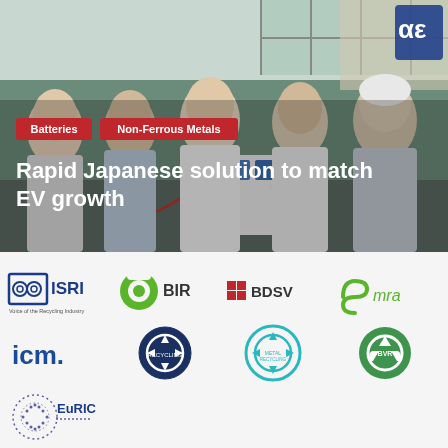[Figure (photo): Five people in lab coats and work uniforms standing in a laboratory/industrial setting. Two red tag labels read 'Batteries' and 'Non-Ferrous Metals'. Bold white headline reads 'Rapid Japanese solution to match EV growth'.]
[Figure (logo): ISRI logo - Voice of the Recycling Industry]
[Figure (logo): BIR logo - green circle]
[Figure (logo): BDSV logo]
[Figure (logo): mra logo - green]
[Figure (logo): icm. logo - blue text]
[Figure (logo): Circular recycling emblem - dark blue]
[Figure (logo): Metal Recycling Network logo - teal circle]
[Figure (logo): BVR logo - green circle]
[Figure (logo): EuRIC logo - dotted circle]